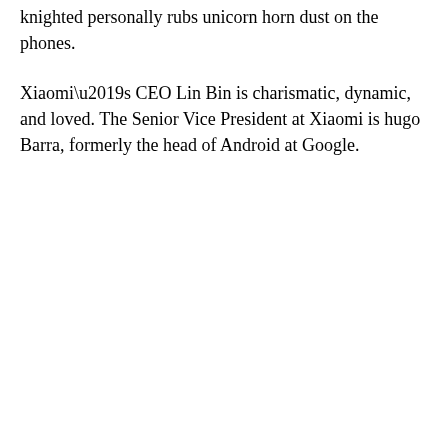knighted personally rubs unicorn horn dust on the phones.
Xiaomi’s CEO Lin Bin is charismatic, dynamic, and loved. The Senior Vice President at Xiaomi is hugo Barra, formerly the head of Android at Google.